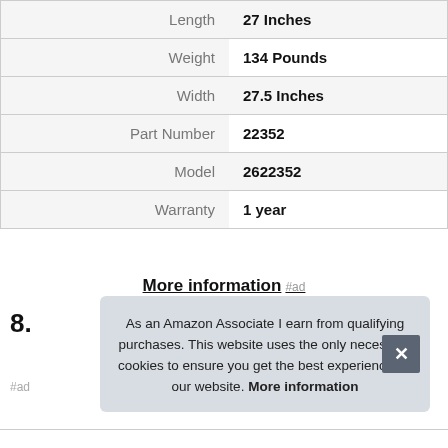| Attribute | Value |
| --- | --- |
| Length | 27 Inches |
| Weight | 134 Pounds |
| Width | 27.5 Inches |
| Part Number | 22352 |
| Model | 2622352 |
| Warranty | 1 year |
More information #ad
8.
As an Amazon Associate I earn from qualifying purchases. This website uses the only necessary cookies to ensure you get the best experience on our website. More information
#ad